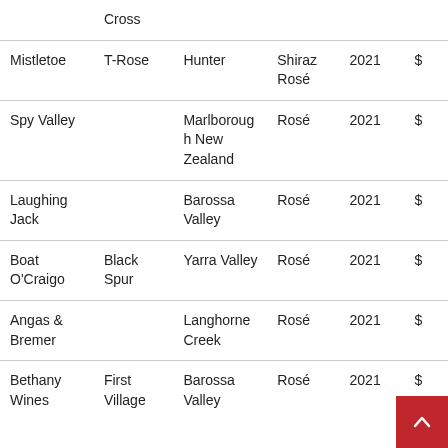| Winery | Label | Region | Style | Vintage | Price |
| --- | --- | --- | --- | --- | --- |
|  | Cross |  |  |  |  |
| Mistletoe | T-Rose | Hunter | Shiraz Rosé | 2021 | $ |
| Spy Valley |  | Marlborough New Zealand | Rosé | 2021 | $ |
| Laughing Jack |  | Barossa Valley | Rosé | 2021 | $ |
| Boat O'Craigo | Black Spur | Yarra Valley | Rosé | 2021 | $ |
| Angas & Bremer |  | Langhorne Creek | Rosé | 2021 | $ |
| Bethany Wines | First Village | Barossa Valley | Rosé | 2021 | $ |